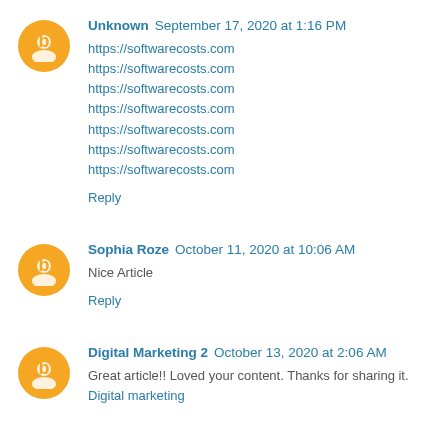Unknown  September 17, 2020 at 1:16 PM
https://softwarecosts.com
https://softwarecosts.com
https://softwarecosts.com
https://softwarecosts.com
https://softwarecosts.com
https://softwarecosts.com
https://softwarecosts.com
Reply
Sophia Roze  October 11, 2020 at 10:06 AM
Nice Article
Reply
Digital Marketing 2  October 13, 2020 at 2:06 AM
Great article!! Loved your content. Thanks for sharing it.
Digital marketing